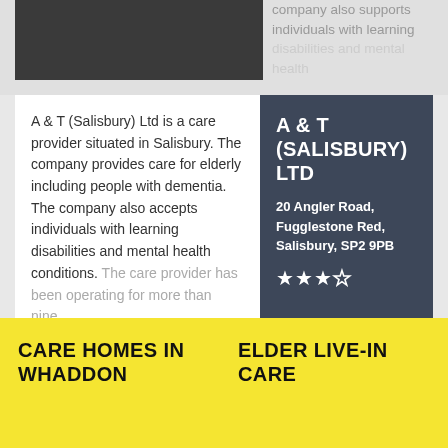company also supports individuals with learning disabilities and mental health
A & T (Salisbury) Ltd is a care provider situated in Salisbury. The company provides care for elderly including people with dementia. The company also accepts individuals with learning disabilities and mental health conditions. The care provider has been operating for more than nine...
A & T (SALISBURY) LTD
20 Angler Road, Fugglestone Red, Salisbury, SP2 9PB
★★★☆
This website uses data from the CQC and NHS Choices
[Figure (logo): NHS Choices logo with 'content supplied by' text in orange]
CARE HOMES IN WHADDON
ELDER LIVE-IN CARE